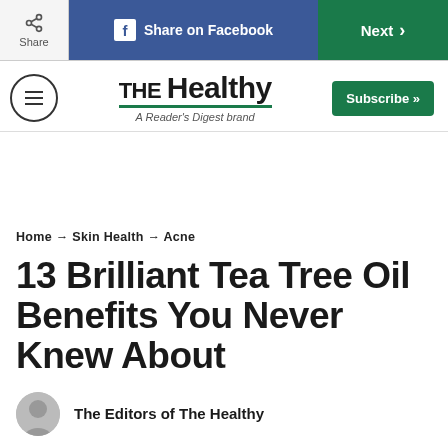Share | Share on Facebook | Next >
[Figure (logo): THE Healthy – A Reader's Digest brand logo with menu icon and Subscribe button]
Home → Skin Health → Acne
13 Brilliant Tea Tree Oil Benefits You Never Knew About
The Editors of The Healthy